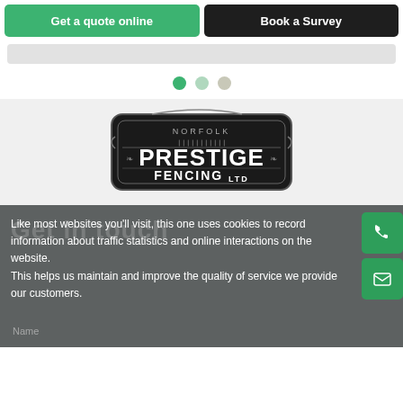Get a quote online
Book a Survey
[Figure (other): Carousel indicator dots: one active green dot and two inactive lighter dots]
[Figure (logo): Norfolk Prestige Fencing Ltd logo — dark badge shape with decorative border, text reads NORFOLK PRESTIGE FENCING LTD in white]
Get in touch
Like most websites you'll visit, this one uses cookies to record information about traffic statistics and online interactions on the website. This helps us maintain and improve the quality of service we provide our customers.
Name